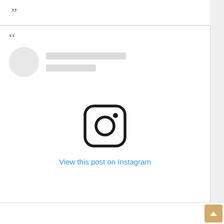”
“
[Figure (screenshot): Instagram embed placeholder with circular avatar, two grey loading bars for username and handle, Instagram logo icon in center, and 'View this post on Instagram' link in blue]
View this post on Instagram